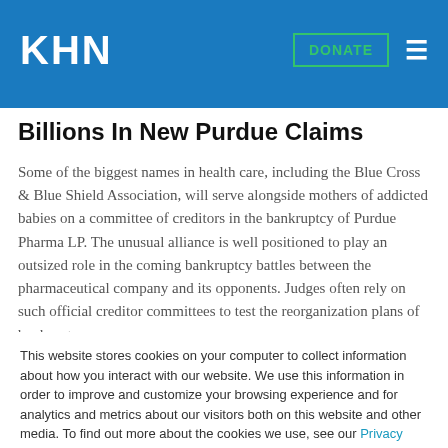KHN | DONATE
Billions In New Purdue Claims
Some of the biggest names in health care, including the Blue Cross & Blue Shield Association, will serve alongside mothers of addicted babies on a committee of creditors in the bankruptcy of Purdue Pharma LP. The unusual alliance is well positioned to play an outsized role in the coming bankruptcy battles between the pharmaceutical company and its opponents. Judges often rely on such official creditor committees to test the reorganization plans of bankrupt companies.
This website stores cookies on your computer to collect information about how you interact with our website. We use this information in order to improve and customize your browsing experience and for analytics and metrics about our visitors both on this website and other media. To find out more about the cookies we use, see our Privacy Policy.